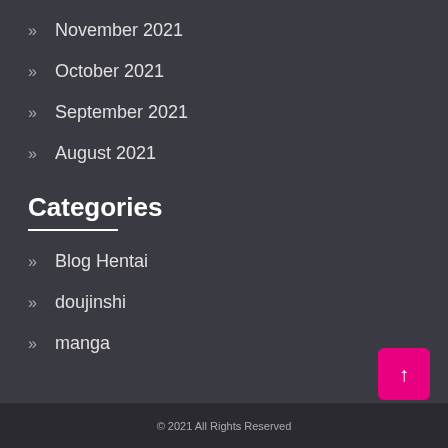November 2021
October 2021
September 2021
August 2021
Categories
Blog Hentai
doujinshi
manga
© 2021 All Rights Reserved